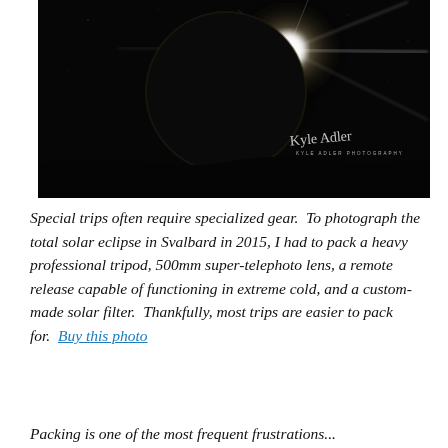[Figure (photo): A dramatic photograph of a total solar eclipse showing a dark circular moon silhouetted against a black sky, with a brilliant diamond ring effect — a burst of white light with long lens flares radiating from the upper right. A faint solar corona is visible around the moon's edge. The photographer's signature 'Kyle Adler' and 'KYLE ADLER PHOTOGRAPHY' are watermarked in the lower right corner.]
Special trips often require specialized gear. To photograph the total solar eclipse in Svalbard in 2015, I had to pack a heavy professional tripod, 500mm super-telephoto lens, a remote release capable of functioning in extreme cold, and a custom-made solar filter. Thankfully, most trips are easier to pack for. Buy this photo
Packing is one of the most frequent frustrations...